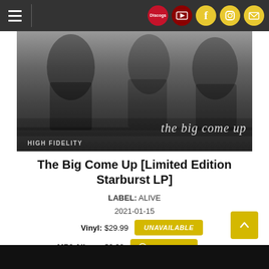Navigation bar with hamburger menu and social icons (Discogs, Facebook, Instagram, Email)
[Figure (photo): Black and white album cover photo for 'the big come up' by a band, with 'HIGH FIDELITY' label text at bottom left and 'the big come up' text in italic at bottom right]
The Big Come Up [Limited Edition Starburst LP]
LABEL: ALIVE
2021-01-15
Vinyl: $29.99  UNAVAILABLE
MP3 Album: $9.99  DOWNLOAD